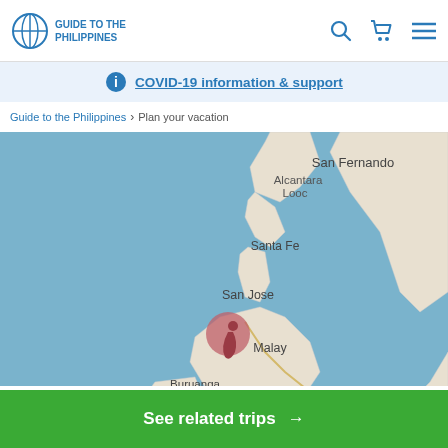Guide to the Philippines
COVID-19 information & support
Guide to the Philippines > Plan your vacation
[Figure (map): Map showing part of the Philippines including locations: San Fernando, Alcantara, Looc, Santa Fe, San Jose, Malay, Buruanga, Libertad, Ibajay. A pink/red circular marker is shown near Malay.]
See related trips →